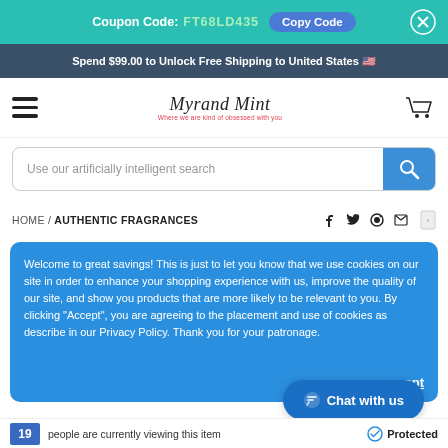Coupon Code: FT68LD435 Copy Code
Spend $99.00 to Unlock Free Shipping to United States
[Figure (screenshot): Website navigation bar with hamburger menu, MyrandMint logo, and shopping cart icon]
Use our artificially intelligent search
HOME / AUTHENTIC FRAGRANCES
Welcome to great savings! This is just to let you know that we use cookies on our site in order to enhance your shopping experience with us, improve the quality of our site, and show you products that are more likely to be relevant to you. By clicking "Accept", you are agreeing to the placement and use of cookies as describe in our Privacy Policy. Thank you for your patronage.
19 people are currently viewing this item  Protected